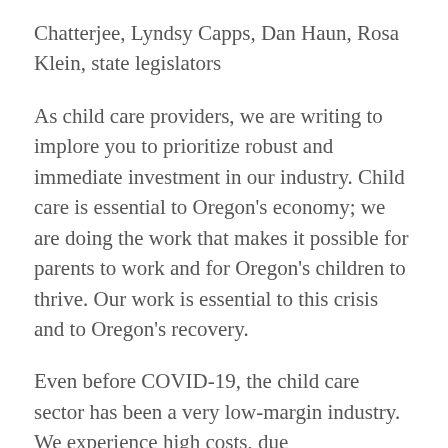Chatterjee, Lyndsy Capps, Dan Haun, Rosa Klein, state legislators
As child care providers, we are writing to implore you to prioritize robust and immediate investment in our industry. Child care is essential to Oregon's economy; we are doing the work that makes it possible for parents to work and for Oregon's children to thrive. Our work is essential to this crisis and to Oregon's recovery.
Even before COVID-19, the child care sector has been a very low-margin industry. We experience high costs, due